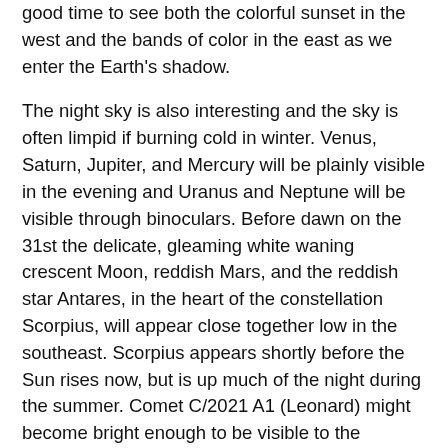good time to see both the colorful sunset in the west and the bands of color in the east as we enter the Earth's shadow.
The night sky is also interesting and the sky is often limpid if burning cold in winter. Venus, Saturn, Jupiter, and Mercury will be plainly visible in the evening and Uranus and Neptune will be visible through binoculars. Before dawn on the 31st the delicate, gleaming white waning crescent Moon, reddish Mars, and the reddish star Antares, in the heart of the constellation Scorpius, will appear close together low in the southeast. Scorpius appears shortly before the Sun rises now, but is up much of the night during the summer. Comet C/2021 A1 (Leonard) might become bright enough to be visible to the unaided eye, after having spent tens of thousands of years approaching the inner solar system. On the 17th Comet Leonard will appear near Venus. There are other comets in the sky as well, but they are not expected to become very bright. Ceres, the largest object in the Asteroid Belt, will be visible using binoculars in the constellation Taurus. It was the first